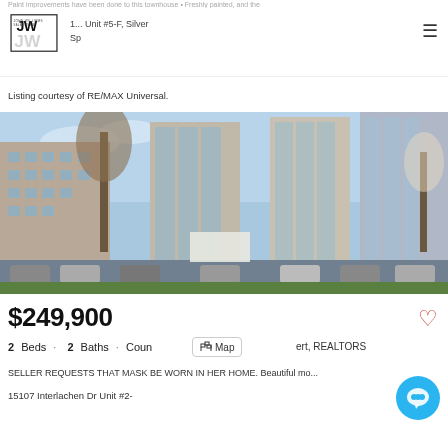Paint improvements have been done to this townhouse • Freshly painted, and the
1... Unit #5-F, Silver Sp
[Figure (logo): John Williams Sales Team JW logo, black and white]
Listing courtesy of RE/MAX Universal.
[Figure (photo): Exterior photo of a multi-story brick and glass apartment/condo building complex with a parking lot in front, trees, and blue sky]
$249,900
2 Beds · 2 Baths · Cour... ert, REALTORS
Map
SELLER REQUESTS THAT MASK BE WORN IN HER HOME. Beautiful mo...
15107 Interlachen Dr Unit #2-